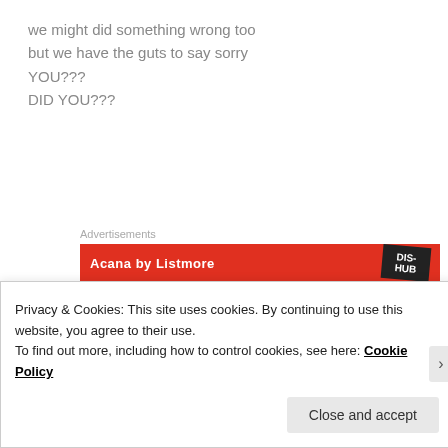we might did something wrong too
but we have the guts to say sorry
YOU???
DID YOU???
Advertisements
[Figure (other): Red advertisement banner with white text and dark badge overlay]
Privacy & Cookies: This site uses cookies. By continuing to use this website, you agree to their use.
To find out more, including how to control cookies, see here: Cookie Policy
Close and accept